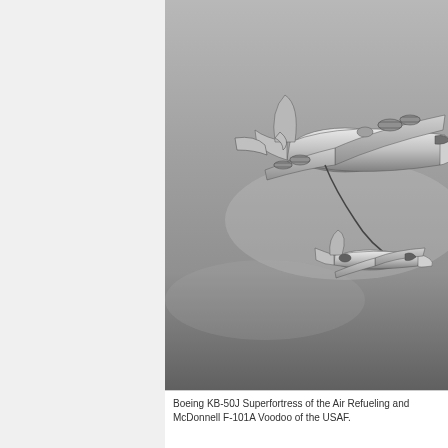[Figure (photo): Black and white photograph of a Boeing KB-50J Superfortress tanker aircraft refueling a McDonnell F-101A Voodoo fighter in flight. The large multi-engine bomber/tanker is seen from below-side angle with a refueling hose connecting to the smaller fighter aircraft below and to the right.]
Boeing KB-50J Superfortress of the Air Refueling and McDonnell F-101A Voodoo of the USAF.